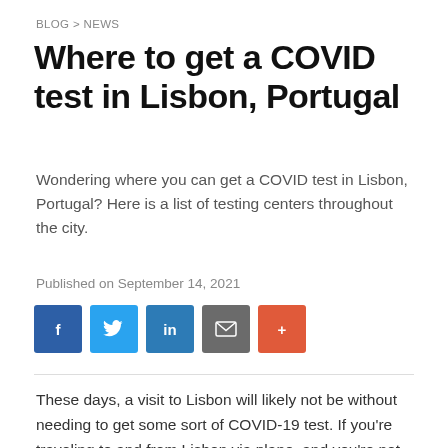BLOG > NEWS
Where to get a COVID test in Lisbon, Portugal
Wondering where you can get a COVID test in Lisbon, Portugal? Here is a list of testing centers throughout the city.
Published on September 14, 2021
[Figure (other): Social share buttons: Facebook, Twitter, LinkedIn, Email, Plus]
These days, a visit to Lisbon will likely not be without needing to get some sort of COVID-19 test. If you're traveling to and from Lisbon via plane, and you're not a holder of an EU Covid Certificate, you'll need a negative Antigen or PCR test to enter, and depending...